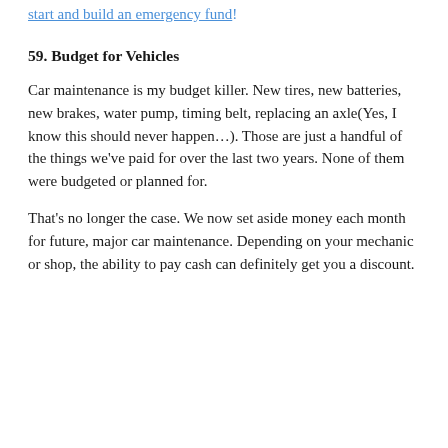start and build an emergency fund!
59. Budget for Vehicles
Car maintenance is my budget killer. New tires, new batteries, new brakes, water pump, timing belt, replacing an axle(Yes, I know this should never happen…). Those are just a handful of the things we've paid for over the last two years. None of them were budgeted or planned for.
That's no longer the case. We now set aside money each month for future, major car maintenance. Depending on your mechanic or shop, the ability to pay cash can definitely get you a discount.